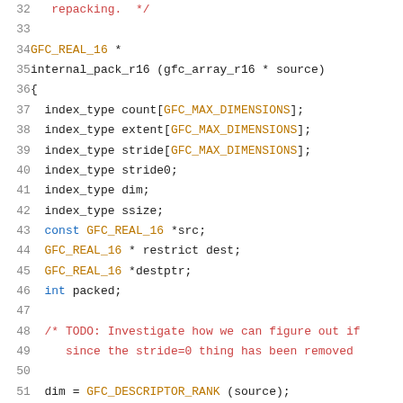Source code listing, lines 32-52, C source file showing internal_pack_r16 function